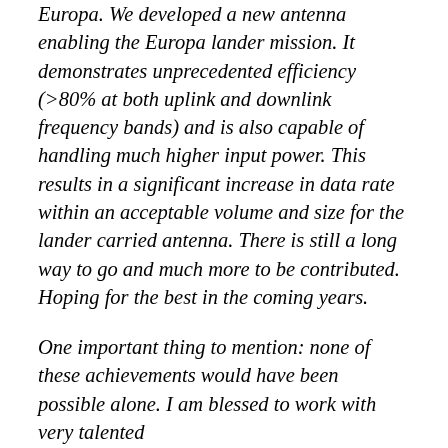Europa. We developed a new antenna enabling the Europa lander mission. It demonstrates unprecedented efficiency (>80% at both uplink and downlink frequency bands) and is also capable of handling much higher input power. This results in a significant increase in data rate within an acceptable volume and size for the lander carried antenna. There is still a long way to go and much more to be contributed. Hoping for the best in the coming years.
One important thing to mention: none of these achievements would have been possible alone. I am blessed to work with very talented